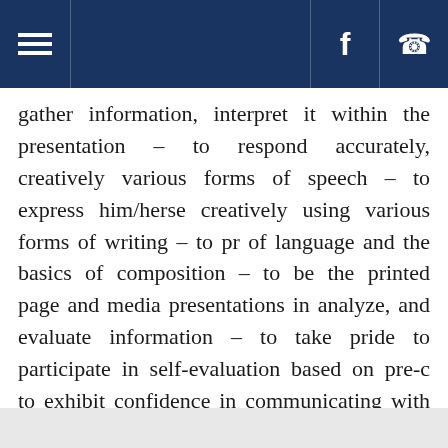Navigation header with hamburger menu, Facebook icon, and phone icon
gather information, interpret it within the presentation – to respond accurately, creatively various forms of speech – to express him/herse creatively using various forms of writing – to pr of language and the basics of composition – to be the printed page and media presentations in analyze, and evaluate information – to take pride to participate in self-evaluation based on pre-c to exhibit confidence in communicating with ind